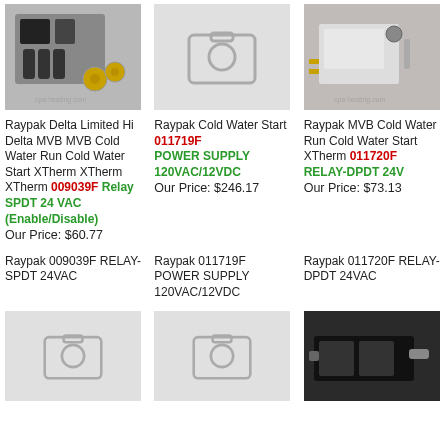[Figure (photo): Raypak relay component with screws on gray background]
Raypak Delta Limited Hi Delta MVB MVB Cold Water Run Cold Water Start XTherm XTherm XTherm 009039F Relay SPDT 24 VAC (Enable/Disable)
Our Price: $60.77
Raypak 009039F RELAY-SPDT 24VAC
[Figure (photo): No image placeholder icon]
Raypak Cold Water Start 011719F POWER SUPPLY 120VAC/12VDC
Our Price: $246.17
Raypak 011719F POWER SUPPLY 120VAC/12VDC
[Figure (photo): Raypak thermostat component on white background]
Raypak MVB Cold Water Run Cold Water Start XTherm 011720F RELAY-DPDT 24V
Our Price: $73.13
Raypak 011720F RELAY-DPDT 24VAC
[Figure (photo): No image placeholder icon]
[Figure (photo): No image placeholder icon]
[Figure (photo): Raypak relay component photo]